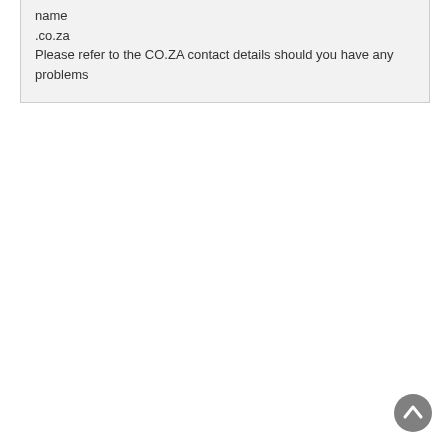name
.co.za
Please refer to the CO.ZA contact details should you have any problems
[Figure (other): A circular scroll-to-top button with an upward chevron arrow, grey background]